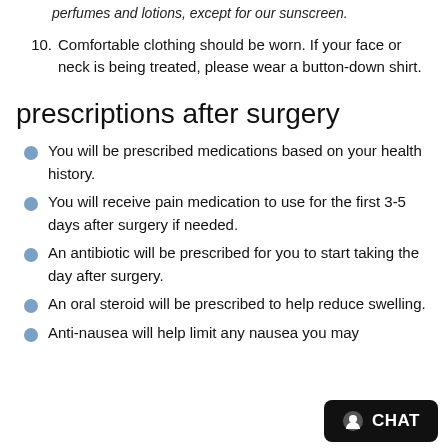perfumes and lotions, except for our sunscreen.
10. Comfortable clothing should be worn. If your face or neck is being treated, please wear a button-down shirt.
prescriptions after surgery
You will be prescribed medications based on your health history.
You will receive pain medication to use for the first 3-5 days after surgery if needed.
An antibiotic will be prescribed for you to start taking the day after surgery.
An oral steroid will be prescribed to help reduce swelling.
Anti-nausea will help limit any nausea you may